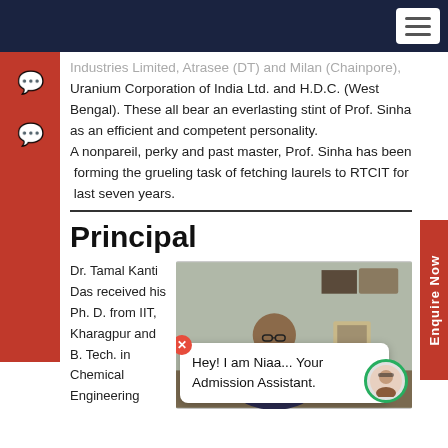Navigation bar with hamburger menu
Industries Limited, Atrasee (DT) and Milan (Chainpore), Uranium Corporation of India Ltd. and H.D.C. (West Bengal). These all bear an everlasting stint of Prof. Sinha as an efficient and competent personality.
A nonpareil, perky and past master, Prof. Sinha has been forming the grueling task of fetching laurels to RTCIT for last seven years.
Principal
Dr. Tamal Kanti Das received his Ph. D. from IIT, Kharagpur and B. Tech. in Chemical Engineering
[Figure (photo): Photo of Dr. Tamal Kanti Das, Principal, seated at a desk in an office. There is a chat popup overlay at the bottom reading 'Hey! I am Niaa... Your Admission Assistant.']